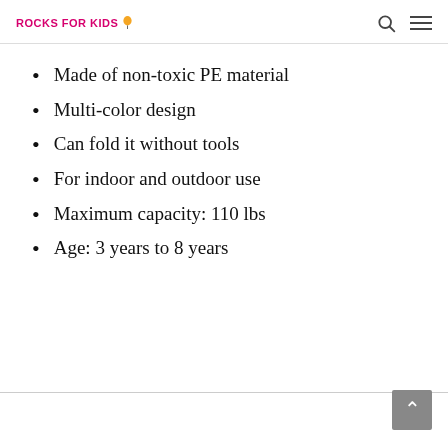ROCKS FOR KIDS
Made of non-toxic PE material
Multi-color design
Can fold it without tools
For indoor and outdoor use
Maximum capacity: 110 lbs
Age: 3 years to 8 years